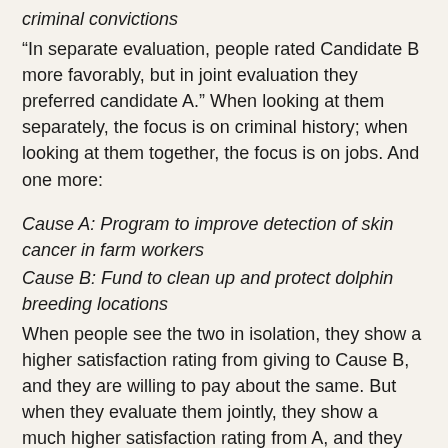criminal convictions
"In separate evaluation, people rated Candidate B more favorably, but in joint evaluation they preferred candidate A." When looking at them separately, the focus is on criminal history; when looking at them together, the focus is on jobs. And one more:
Cause A: Program to improve detection of skin cancer in farm workers
Cause B: Fund to clean up and protect dolphin breeding locations
When people see the two in isolation, they show a higher satisfaction rating from giving to Cause B, and they are willing to pay about the same. But when they evaluate them jointly, they show a much higher satisfaction rating from A, and they want to pay far more for it." The explanation here seems to be a form of category-bound thinking, where just thinking about the dolphins generates a stronger visceral response, but when comparing directly, the humans weigh more heavily.
One temptation in these and many other examples given by